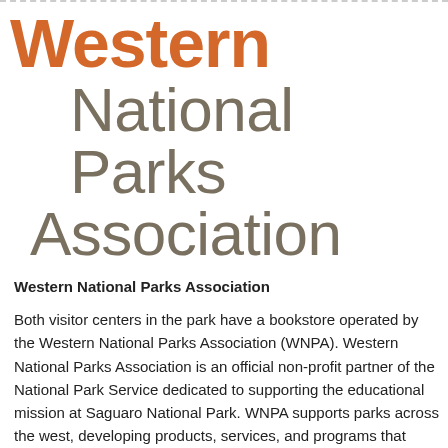Western National Parks Association
Western National Parks Association
Both visitor centers in the park have a bookstore operated by the Western National Parks Association (WNPA). Western National Parks Association is an official non-profit partner of the National Park Service dedicated to supporting the educational mission at Saguaro National Park. WNPA supports parks across the west, developing products, services, and programs that enrich the visitor experience.